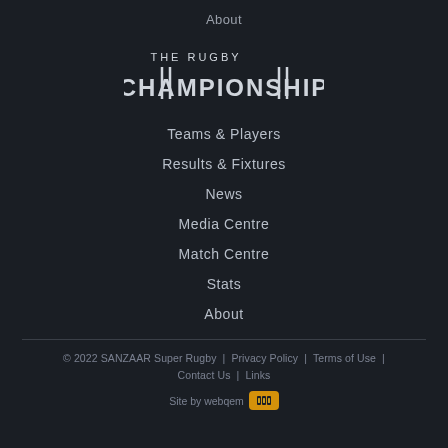About
[Figure (logo): The Rugby Championship logo - stylized text with vertical line accents forming the letters C and H]
Teams & Players
Results & Fixtures
News
Media Centre
Match Centre
Stats
About
© 2022 SANZAAR Super Rugby  |  Privacy Policy  |  Terms of Use  |  Contact Us  |  Links  Site by webqem